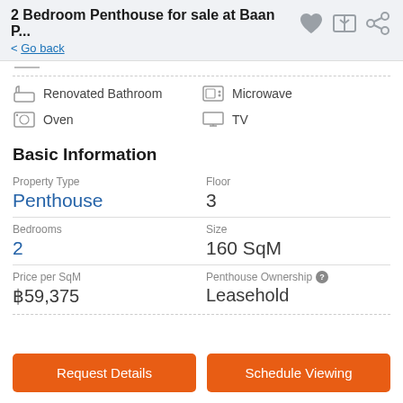2 Bedroom Penthouse for sale at Baan P...
< Go back
Renovated Bathroom
Microwave
Oven
TV
Basic Information
| Property Type | Floor |
| --- | --- |
| Penthouse | 3 |
| Bedrooms | Size |
| 2 | 160 SqM |
| Price per SqM | Penthouse Ownership |
| ฿59,375 | Leasehold |
Request Details
Schedule Viewing